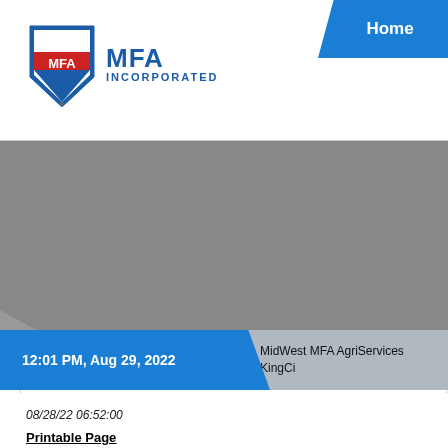[Figure (logo): MFA Incorporated logo: blue shield with stars and 'MFA' text, beside 'MFA INCORPORATED' text in blue]
Home
[Figure (photo): Gray image area representing a cropped/obscured photograph]
12:01 PM, Aug 29, 2022
MidWest MFA AgriServices KingCi
08/28/22 06:52:00
Printable Page